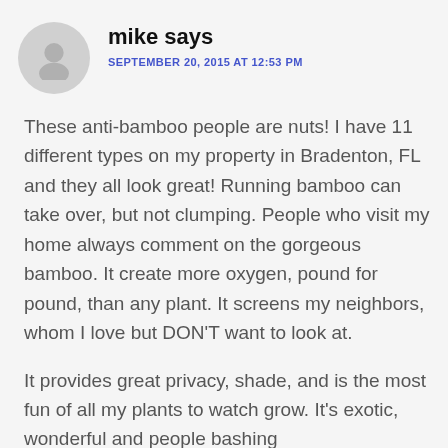mike says
SEPTEMBER 20, 2015 AT 12:53 PM
These anti-bamboo people are nuts! I have 11 different types on my property in Bradenton, FL and they all look great! Running bamboo can take over, but not clumping. People who visit my home always comment on the gorgeous bamboo. It create more oxygen, pound for pound, than any plant. It screens my neighbors, whom I love but DON'T want to look at.
It provides great privacy, shade, and is the most fun of all my plants to watch grow. It's exotic, wonderful and people bashing